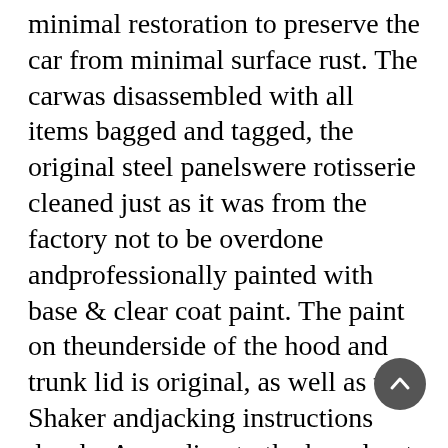minimal restoration to preserve the car from minimal surface rust. The carwas disassembled with all items bagged and tagged, the original steel panelswere rotisserie cleaned just as it was from the factory not to be overdone andprofessionally painted with base & clear coat paint. The paint on theunderside of the hood and trunk lid is original, as well as the Shaker andjacking instructions decals. According to the broadcast sheet the car wassupposed to have undercoating, we chose not to under coat the car so theoriginal floor pans would be completely visible. The car was then reassembledto as close to original as possible with its original parts and only a limited amountof items that were replaced due to age. Replaced items include the headliner,carpet, seals, brake lines, fuel lines, exhaust, wheels, and tires.